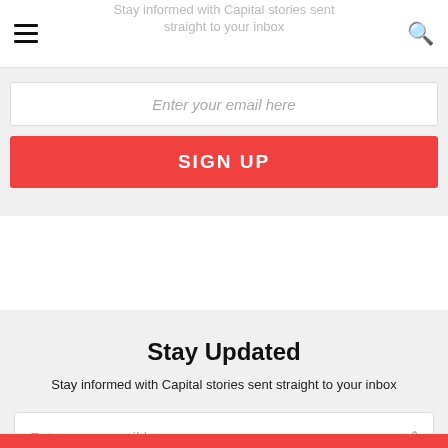Stay informed with Capital stories sent straight to your inbox
[Figure (screenshot): Navigation bar with hamburger menu icon on left and search icon on right]
Enter your email here
SIGN UP
Stay Updated
Stay informed with Capital stories sent straight to your inbox
Enter your email here